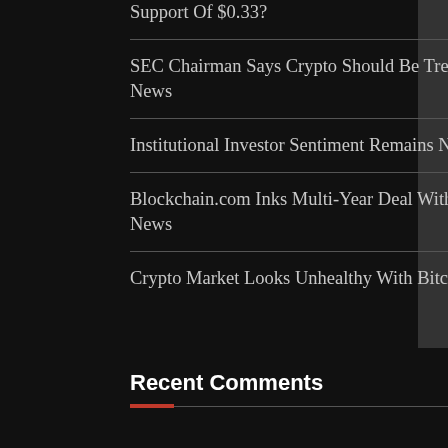Support Of $0.33?
SEC Chairman Says Crypto Should Be Treated Same as Other Capital Markets – Regulation Bitcoin News
Institutional Investor Sentiment Remains Negative As Bitcoin Outflows Continue
Blockchain.com Inks Multi-Year Deal With Dallas Cowboys Star Quarterback Dak Prescott – Bitcoin News
Crypto Market Looks Unhealthy With Bitcoin At $21K, Expert Says
Recent Comments